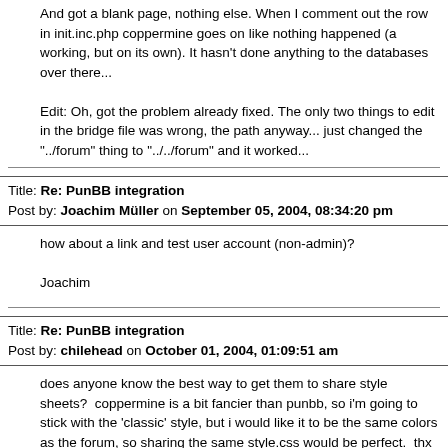And got a blank page, nothing else. When I comment out the row in init.inc.php coppermine goes on like nothing happened (a working, but on its own). It hasn't done anything to the databases over there...
Edit: Oh, got the problem already fixed. The only two things to edit in the bridge file was wrong, the path anyway... just changed the "../forum" thing to "../../forum" and it worked...
Title: Re: PunBB integration
Post by: Joachim Müller on September 05, 2004, 08:34:20 pm
how about a link and test user account (non-admin)?

Joachim
Title: Re: PunBB integration
Post by: chilehead on October 01, 2004, 01:09:51 am
does anyone know the best way to get them to share style sheets?  coppermine is a bit fancier than punbb, so i'm going to stick with the 'classic' style, but i would like it to be the same colors as the forum, so sharing the same style.css would be perfect.  thx for any ideas.
Title: Re: PunBB integration
Post by: Joachim Müller on October 01, 2004, 06:35:43 am